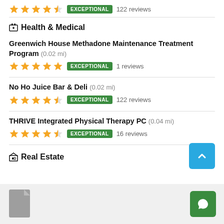★★★★½ EXCEPTIONAL 122 reviews
Health & Medical
Greenwich House Methadone Maintenance Treatment Program (0.02 mi) ★★★★★ EXCEPTIONAL 1 reviews
No Ho Juice Bar & Deli (0.02 mi) ★★★★½ EXCEPTIONAL 122 reviews
THRIVE Integrated Physical Therapy PC (0.04 mi) ★★★★½ EXCEPTIONAL 16 reviews
Real Estate